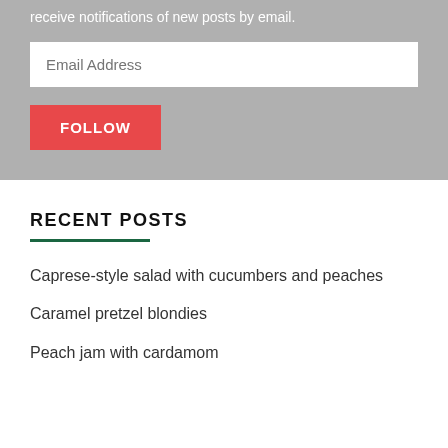receive notifications of new posts by email.
Email Address
FOLLOW
RECENT POSTS
Caprese-style salad with cucumbers and peaches
Caramel pretzel blondies
Peach jam with cardamom